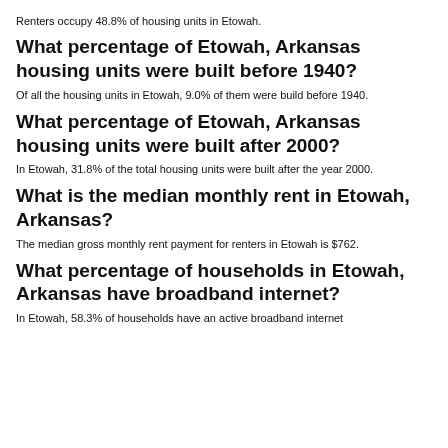Renters occupy 48.8% of housing units in Etowah.
What percentage of Etowah, Arkansas housing units were built before 1940?
Of all the housing units in Etowah, 9.0% of them were build before 1940.
What percentage of Etowah, Arkansas housing units were built after 2000?
In Etowah, 31.8% of the total housing units were built after the year 2000.
What is the median monthly rent in Etowah, Arkansas?
The median gross monthly rent payment for renters in Etowah is $762.
What percentage of households in Etowah, Arkansas have broadband internet?
In Etowah, 58.3% of households have an active broadband internet